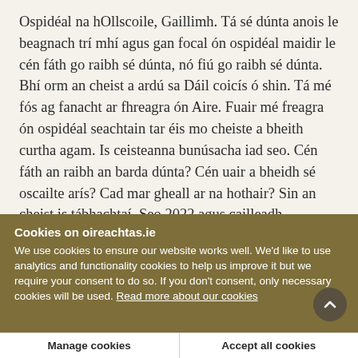Ospidéal na hOllscoile, Gaillimh. Tá sé dúnta anois le beagnach trí mhí agus gan focal ón ospidéal maidir le cén fáth go raibh sé dúnta, nó fiú go raibh sé dúnta. Bhí orm an cheist a ardú sa Dáil coicís ó shin. Tá mé fós ag fanacht ar fhreagra ón Aire. Fuair mé freagra ón ospidéal seachtain tar éis mo cheiste a bheith curtha agam. Is ceisteanna bunúsacha iad seo. Cén fáth an raibh an barda dúnta? Cén uair a bheidh sé oscailte arís? Cad mar gheall ar na hothair? Sin an cheist is tábhachtaí. Seo 2022 agus cailleadh
Cookies on oireachtas.ie
We use cookies to ensure our website works well. We'd like to use analytics and functionality cookies to help us improve it but we require your consent to do so. If you don't consent, only necessary cookies will be used. Read more about our cookies
Manage cookies
Accept all cookies